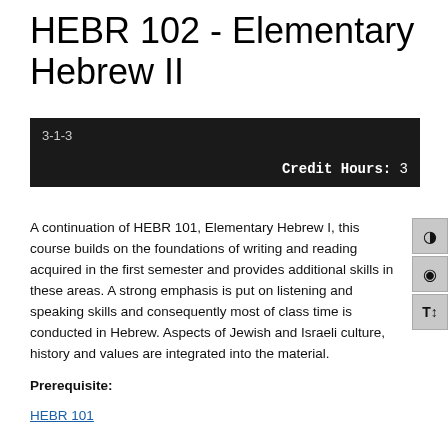HEBR 102 - Elementary Hebrew II
| 3-1-3 | Credit Hours: 3 |
| --- | --- |
A continuation of HEBR 101, Elementary Hebrew I, this course builds on the foundations of writing and reading acquired in the first semester and provides additional skills in these areas. A strong emphasis is put on listening and speaking skills and consequently most of class time is conducted in Hebrew. Aspects of Jewish and Israeli culture, history and values are integrated into the material.
Prerequisite:
HEBR 101